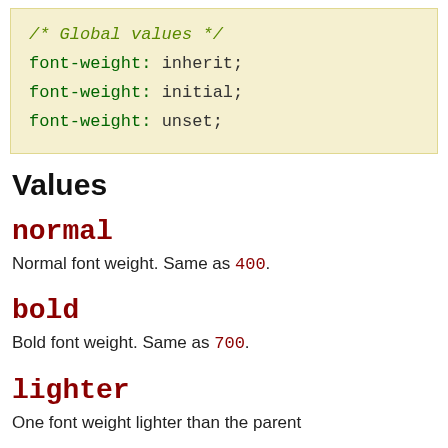/* Global values */
font-weight: inherit;
font-weight: initial;
font-weight: unset;
Values
normal
Normal font weight. Same as 400.
bold
Bold font weight. Same as 700.
lighter
One font weight lighter than the parent